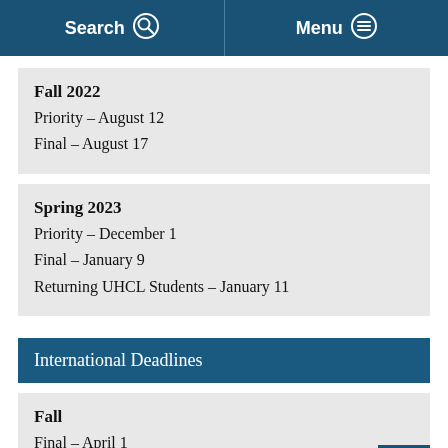Search  Menu
Fall 2022
Priority – August 12
Final – August 17
Spring 2023
Priority – December 1
Final – January 9
Returning UHCL Students – January 11
International Deadlines
Fall
Final – April 1
Document Deadline – April 15